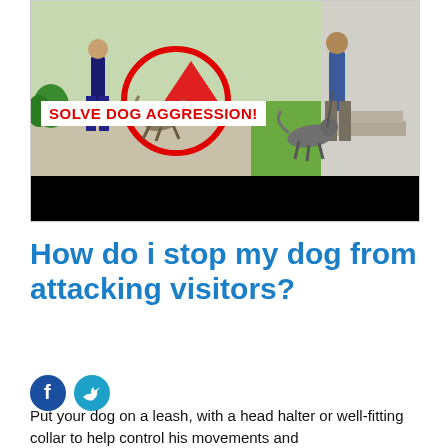[Figure (photo): A video thumbnail showing a dog aggression training scene with a red circle highlighting a dog lunging at a person's legs on a lawn. Text overlay reads 'SOLVE DOG AGGRESSION!' in bold red on white background. A second person holds a grey dog on a leash to the right. A black bar appears at the bottom of the thumbnail.]
How do i stop my dog from attacking visitors?
[Figure (illustration): Facebook and Twitter social share icon buttons (circular, dark blue and cyan respectively)]
Put your dog on a leash, with a head halter or well-fitting collar to help control his movements and